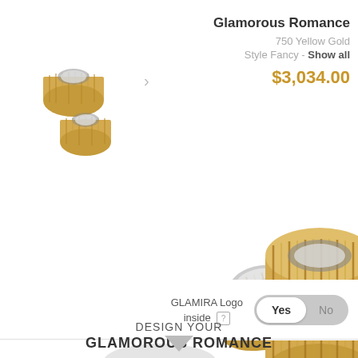[Figure (photo): Two gold wedding bands with textured surface, shown as small thumbnails in top-left area]
Glamorous Romance
750 Yellow Gold
Style Fancy - Show all
$3,034.00
[Figure (photo): Large close-up of two gold rings with vertical line texture pattern, one upright and one tilted, on white background with soft shadows]
GLAMIRA Logo inside [?]
Yes / No toggle
DESIGN YOUR
GLAMOROUS ROMANCE